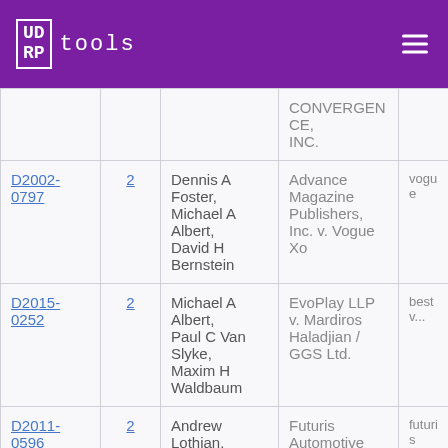UDRP tools
| Case ID | Panels | Panelists | Case Name | Domain |
| --- | --- | --- | --- | --- |
|  |  |  | CONVERGENCE, INC. |  |
| D2002-0797 | 2 | Dennis A Foster, Michael A Albert, David H Bernstein | Advance Magazine Publishers, Inc. v. Vogue Xo | vogue |
| D2015-0252 | 2 | Michael A Albert, Paul C Van Slyke, Maxim H Waldbaum | EvoPlay LLP v. Mardiros Haladjian / GGS Ltd. | bestv... |
| D2011-0596 | 2 | Andrew Lothian, Michael A Albert, ... | Futuris Automotive Interiors (Australia) P... | futuris |